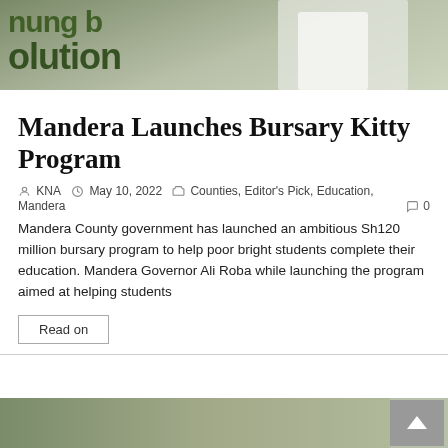[Figure (photo): Top portion of a person in a white shirt at a podium or speaking event, with a green banner showing partial text 'olution' in the background]
Mandera Launches Bursary Kitty Program
KNA   May 10, 2022   Counties, Editor's Pick, Education, Mandera   0
Mandera County government has launched an ambitious Sh120 million bursary program to help poor bright students complete their education. Mandera Governor Ali Roba while launching the program aimed at helping students
Read on
[Figure (photo): Bottom strip showing partial outdoor/landscape image]